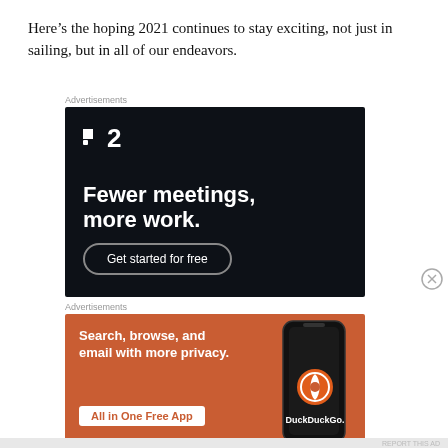Here’s the hoping 2021 continues to stay exciting, not just in sailing, but in all of our endeavors.
[Figure (other): Advertisement for Basecamp/HEY (platform 2): dark background with logo showing two squares and the number 2, tagline 'Fewer meetings, more work.' and a 'Get started for free' button with rounded border.]
[Figure (other): Advertisement for DuckDuckGo: orange background with white bold text 'Search, browse, and email with more privacy.' and a white button 'All in One Free App', plus a phone illustration showing the DuckDuckGo logo and brand name.]